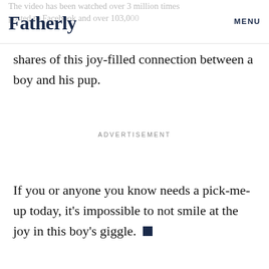Fatherly  MENU
The video has been watched over 3 million times posted to Facebook and over 103,000 shares of this joy-filled connection between a boy and his pup.
ADVERTISEMENT
If you or anyone you know needs a pick-me-up today, it's impossible to not smile at the joy in this boy's giggle.